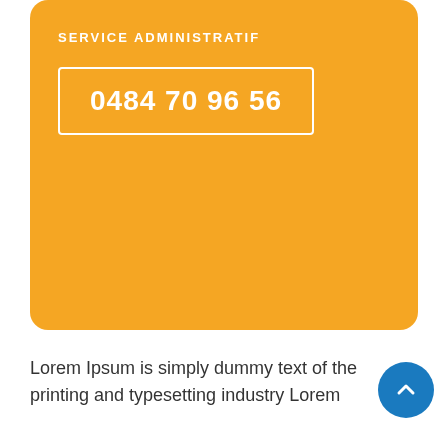SERVICE ADMINISTRATIF
0484 70 96 56
Lorem Ipsum is simply dummy text of the printing and typesetting industry Lorem
24/7 AVAILABILITY
[Figure (illustration): Clock/timer icon inside a square border box]
Des interventions urgentes